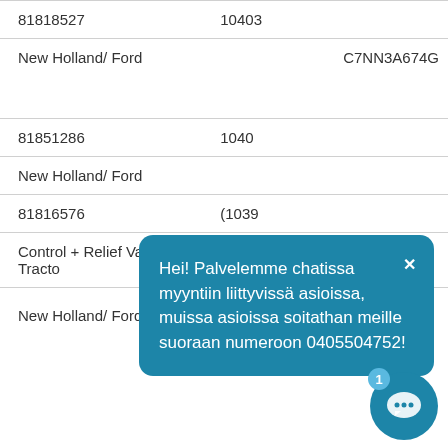| Part Number | Code | Ref |
| --- | --- | --- |
| 81818527 | 10403 |  |
| New Holland/ Ford |  | C7NN3A674G |
| 81851286 | 1040… |  |
| New Holland/ Ford |  | … |
| 81816576 | (1039… |  |
| Control + Relief Valve for Tractor… |  |  |
| New Holland/ Ford | 56, 5000, 7000 Hitch, | DONN… |
[Figure (other): Chat popup overlay with teal background reading: 'Hei! Palvelemme chatissa myyntiin liittyvissä asioissa, muissa asioissa soitathan meille suoraan numeroon 0405504752!' with a close button (x) and a chat bubble icon with badge '1' in the bottom right corner.]